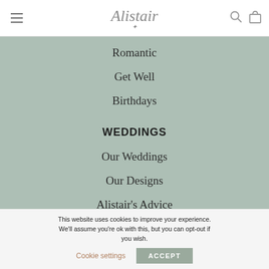Alistair [logo with menu, search, and bag icons]
Romantic
Get Well
Birthdays
WEDDINGS
Our Weddings
Our Designs
Alistair's Advice
This website uses cookies to improve your experience. We'll assume you're ok with this, but you can opt-out if you wish. Cookie settings ACCEPT